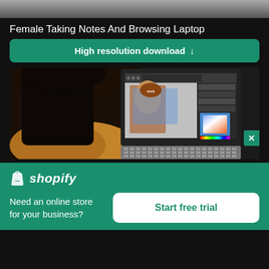[Figure (photo): Partial view of a photo at the top of the page - appears to be a cropped image showing fabric/textured material]
Female Taking Notes And Browsing Laptop
High resolution download ↓
[Figure (photo): Photo of a woman with dark hair viewed from behind, looking at a laptop screen displaying Adobe Photoshop software with a color picker and image editing interface]
[Figure (logo): Shopify logo - white shopping bag icon with 'shopify' text in italic white on teal/green background]
Need an online store for your business?
Start free trial